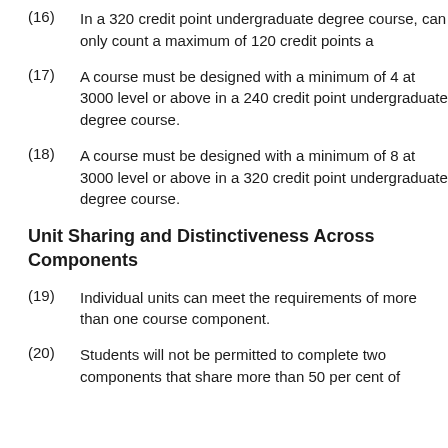(16) In a 320 credit point undergraduate degree course, can only count a maximum of 120 credit points a
(17) A course must be designed with a minimum of 4 at 3000 level or above in a 240 credit point undergraduate degree course.
(18) A course must be designed with a minimum of 8 at 3000 level or above in a 320 credit point undergraduate degree course.
Unit Sharing and Distinctiveness Across Components
(19) Individual units can meet the requirements of more than one course component.
(20) Students will not be permitted to complete two components that share more than 50 per cent of